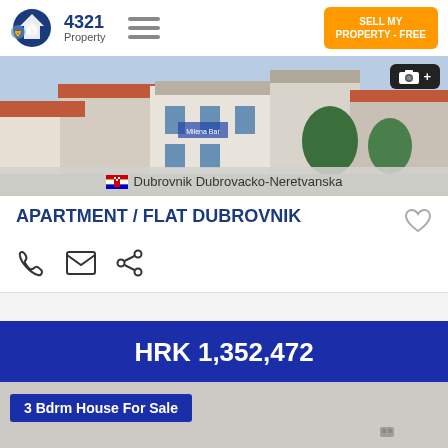4321 Property | SELL MY PROPERTY - FREE
[Figure (photo): Exterior photo of buildings in Dubrovnik with terracotta roofs and white walls]
Dubrovnik Dubrovacko-Neretvanska
APARTMENT / FLAT DUBROVNIK
HRK 1,352,472
3 Bdrm House For Sale
3 [bed icon]